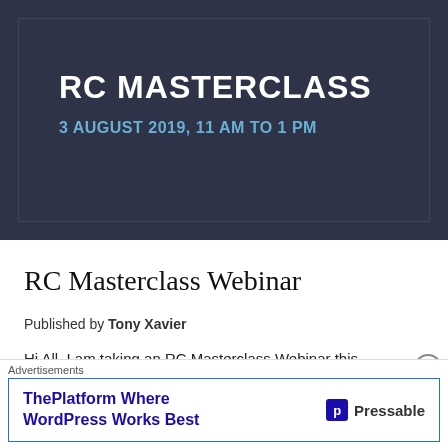[Figure (illustration): Dark navy banner image for RC Masterclass webinar event, showing title 'RC MASTERCLASS' in bold white text and subtitle '3 AUGUST 2019, 11 AM TO 1 PM' in light blue text, on a dark background with a border.]
RC Masterclass Webinar
Published by Tony Xavier
Hi All, I am taking an RC Masterclass Webinar this
Advertisements
ThePlatform Where WordPress Works Best — Pressable